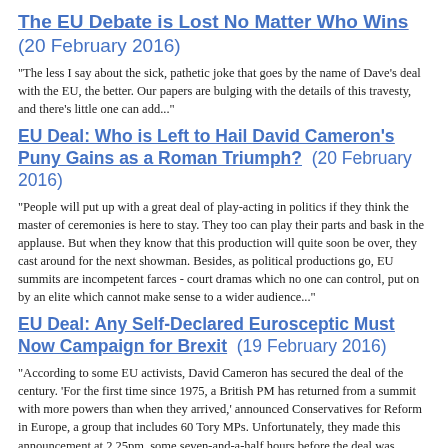The EU Debate is Lost No Matter Who Wins (20 February 2016)
"The less I say about the sick, pathetic joke that goes by the name of Dave's deal with the EU, the better. Our papers are bulging with the details of this travesty, and there's little one can add..."
EU Deal: Who is Left to Hail David Cameron's Puny Gains as a Roman Triumph? (20 February 2016)
"People will put up with a great deal of play-acting in politics if they think the master of ceremonies is here to stay. They too can play their parts and bask in the applause. But when they know that this production will quite soon be over, they cast around for the next showman. Besides, as political productions go, EU summits are incompetent farces - court dramas which no one can control, put on by an elite which cannot make sense to a wider audience..."
EU Deal: Any Self-Declared Eurosceptic Must Now Campaign for Brexit (19 February 2016)
"According to some EU activists, David Cameron has secured the deal of the century. 'For the first time since 1975, a British PM has returned from a summit with more powers than when they arrived,' announced Conservatives for Reform in Europe, a group that includes 60 Tory MPs. Unfortunately, they made this announcement at 2.25pm, some seven-and-a-half hours before the deal was unveiled..."
The EU Has Just Called Cameron's Bluff - and Won (19 February 2016)
"So in the end, David Cameron's attempt to renegotiate Britain's EU membership served to remind us of the case for leaving: the EU is designed in such a way that almost no sensible proposal can be passed. ... The resulting deal is a woeful substitute for the fundamental reform that he rightly set out to achieve. They called his bluff, which is bad in itself. But